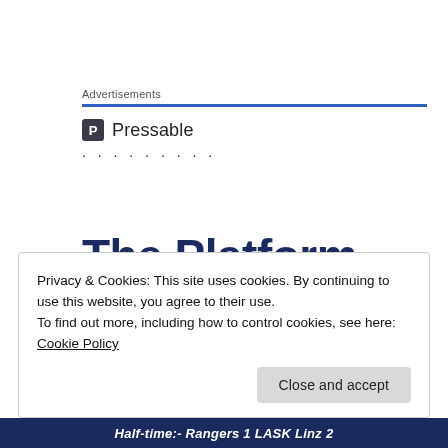Advertisements
[Figure (logo): Pressable logo with square P icon and text 'Pressable']
·········
The Platform Where WordPress Works Best
Privacy & Cookies: This site uses cookies. By continuing to use this website, you agree to their use.
To find out more, including how to control cookies, see here: Cookie Policy
Close and accept
Half-time:- Rangers 1 LASK Linz 2